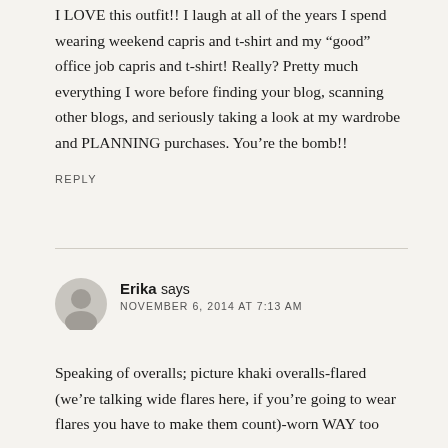I LOVE this outfit!! I laugh at all of the years I spend wearing weekend capris and t-shirt and my “good” office job capris and t-shirt! Really? Pretty much everything I wore before finding your blog, scanning other blogs, and seriously taking a look at my wardrobe and PLANNING purchases. You’re the bomb!!
REPLY
Erika says
NOVEMBER 6, 2014 AT 7:13 AM
Speaking of overalls; picture khaki overalls-flared (we’re talking wide flares here, if you’re going to wear flares you have to make them count)-worn WAY too